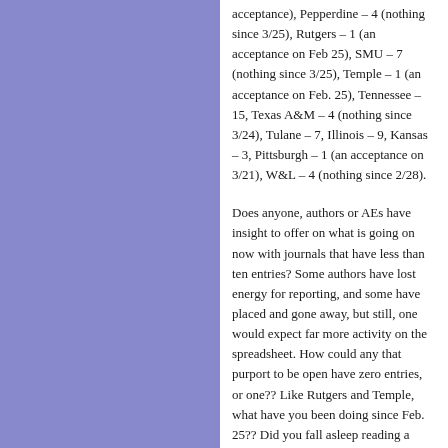acceptance), Pepperdine – 4 (nothing since 3/25), Rutgers – 1 (an acceptance on Feb 25), SMU – 7 (nothing since 3/25), Temple – 1 (an acceptance on Feb. 25), Tennessee – 15, Texas A&M – 4 (nothing since 3/24), Tulane – 7, Illinois – 9, Kansas – 3, Pittsburgh – 1 (an acceptance on 3/21), W&L – 4 (nothing since 2/28).
Does anyone, authors or AEs have insight to offer on what is going on now with journals that have less than ten entries? Some authors have lost energy for reporting, and some have placed and gone away, but still, one would expect far more activity on the spreadsheet. How could any that purport to be open have zero entries, or one?? Like Rutgers and Temple, what have you been doing since Feb. 25?? Did you fall asleep reading a submission that wasn't about criminal procedure or the 1st Amendment or impeachment?
The ultimate question, of course, for those of us with articles not yet placed, is: Are any editors